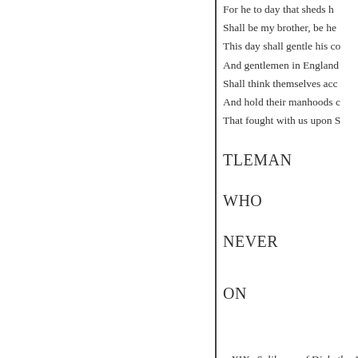For he to day that sheds his blood with me
Shall be my brother, be he ne'er so vile,
This day shall gentle his condition;
And gentlemen in England now a-bed
Shall think themselves accurs'd they were not here,
And hold their manhoods cheap whiles any speaks
That fought with us upon Saint Crispin's day.
TLEMAN
WHO
NEVER
ON
XIX.-Soliloquy of Dicle the Apothecary of me! What, cramp... alligator stuffed, and a beggarly... the bills of mortality !-No! No!